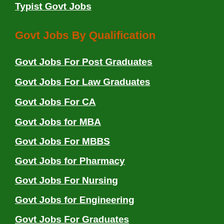Typist Govt Jobs
Govt Jobs By Qualification
Govt Jobs For Post Graduates
Govt Jobs For Law Graduates
Govt Jobs For CA
Govt Jobs for MBA
Govt Jobs For MBBS
Govt Jobs for Pharmacy
Govt Jobs For Nursing
Govt Jobs for Engineering
Govt Jobs For Graduates
Govt Jobs For Diploma